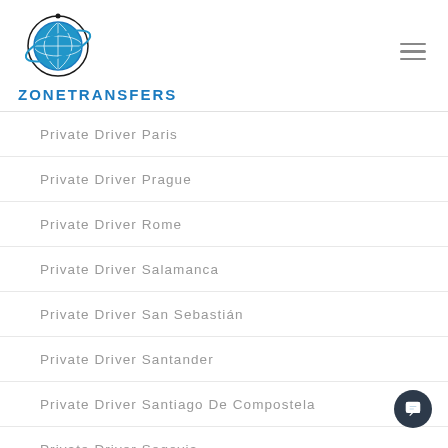[Figure (logo): ZoneTransfers globe logo with blue sphere and orbital rings, with text ZONETRANSFERS below in blue bold uppercase letters]
Private Driver Paris
Private Driver Prague
Private Driver Rome
Private Driver Salamanca
Private Driver San Sebastián
Private Driver Santander
Private Driver Santiago De Compostela
Private Driver Segovia